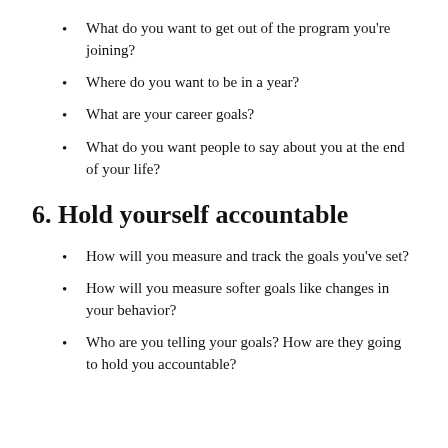What do you want to get out of the program you're joining?
Where do you want to be in a year?
What are your career goals?
What do you want people to say about you at the end of your life?
6. Hold yourself accountable
How will you measure and track the goals you've set?
How will you measure softer goals like changes in your behavior?
Who are you telling your goals? How are they going to hold you accountable?